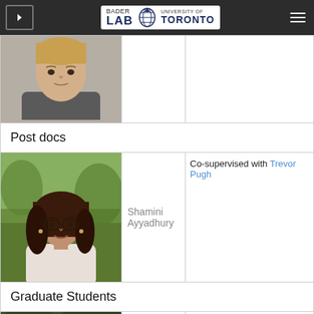[Figure (logo): Bader Lab - University of Toronto logo in white navigation bar]
| Photo | Name | Description |
| --- | --- | --- |
| [man photo] |  |  |
| Post docs |  |  |
| [Shamini Ayyadhury photo] | Shamini Ayyadhury | Co-supervised with Trevor Pugh |
| Graduate Students |  |  |
| [Brendan Innes photo] | Brendan Innes | Molecular Genetics |